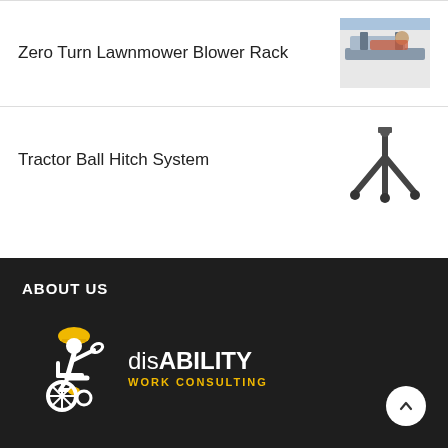Zero Turn Lawnmower Blower Rack
[Figure (photo): Photo of a person working with a zero turn lawnmower blower rack equipment]
Tractor Ball Hitch System
[Figure (photo): 3D render of a tractor ball hitch system, a triangular metal stand]
ABOUT US
[Figure (logo): disABILITY WORK CONSULTING logo with wheelchair user icon wearing hard hat]